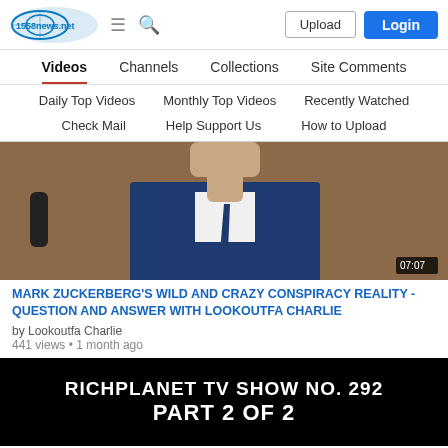1558news.net — Upload | Login
Videos | Channels | Collections | Site Comments
Daily Top Videos | Monthly Top Videos | Recently Watched
Check Mail | Help Support Us | How to Upload
[Figure (screenshot): Video thumbnail showing Mark Zuckerberg in a blue suit and tie, with a duration badge reading 07:07]
MARK ZUCKERBERG'S WILD AND CRAZY CONSPIRACY REALITY - QUESTION AND ANSWER WITH LOOKOUTFA CHARLIE
by Lookoutfa Charlie
441 views • 1 month ago
[Figure (screenshot): Video thumbnail with black background showing white bold text: RICHPLANET TV SHOW NO. 292 PART 2 OF 2]